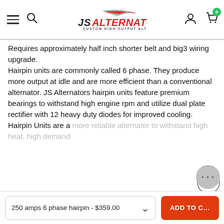JS ALTERNATORS — CUSTOM HIGH OUTPUT ALTERNATORS
Requires approximately half inch shorter belt and big3 wiring upgrade.
Hairpin units are commonly called 6 phase. They produce more output at idle and are more efficient than a conventional alternator. JS Alternators hairpin units feature premium bearings to withstand high engine rpm and utilize dual plate rectifier with 12 heavy duty diodes for improved cooling. Hairpin Units are a more reliable alternator to withstand high heat, high demand
We use cookies to improve your experience on our website. Read about how we use cookies in our Privacy Policy. By browsing this website, you agree to our use of cookies. Privacy Policy
250 amps 6 phase hairpin - $359.00
ADD TO C...